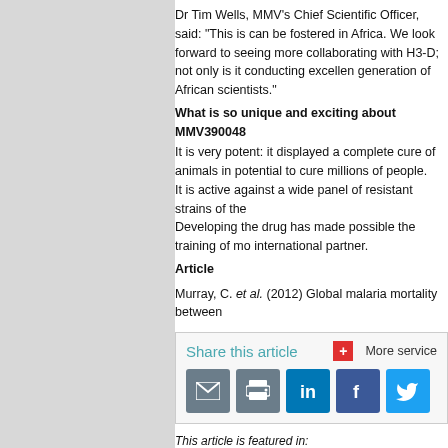Dr Tim Wells, MMV's Chief Scientific Officer, said: "This is can be fostered in Africa. We look forward to seeing more collaborating with H3-D; not only is it conducting excellen generation of African scientists."
What is so unique and exciting about MMV390048
It is very potent: it displayed a complete cure of animals in potential to cure millions of people.
It is active against a wide panel of resistant strains of the
Developing the drug has made possible the training of mo international partner.
Article
Murray, C. et al. (2012) Global malaria mortality between
[Figure (infographic): Share this article social media icons bar with email, print, LinkedIn, Facebook, Twitter buttons and More services link]
This article is featured in:
Pharmacology/ Therapeutics
Comment on this article